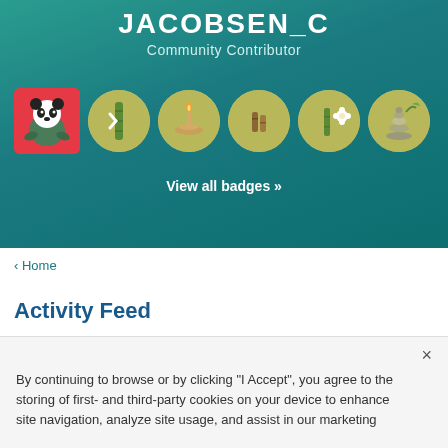JACOBSEN_C
Community Contributor
[Figure (screenshot): Row of user profile badges: a panda avatar on red square background, followed by 5 circular bamboo/nature themed badges on olive/tan background]
View all badges »
‹ Home
Activity Feed
× By continuing to browse or by clicking "I Accept", you agree to the storing of first- and third-party cookies on your device to enhance site navigation, analyze site usage, and assist in our marketing efforts.